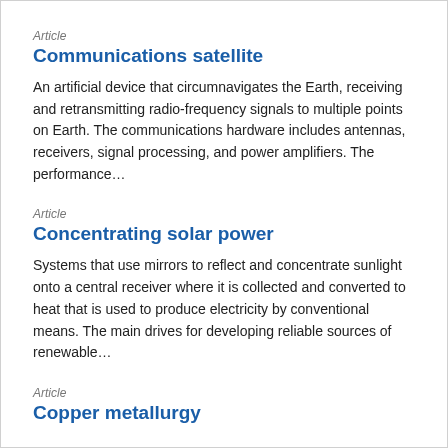Article
Communications satellite
An artificial device that circumnavigates the Earth, receiving and retransmitting radio-frequency signals to multiple points on Earth. The communications hardware includes antennas, receivers, signal processing, and power amplifiers. The performance…
Article
Concentrating solar power
Systems that use mirrors to reflect and concentrate sunlight onto a central receiver where it is collected and converted to heat that is used to produce electricity by conventional means. The main drives for developing reliable sources of renewable…
Article
Copper metallurgy